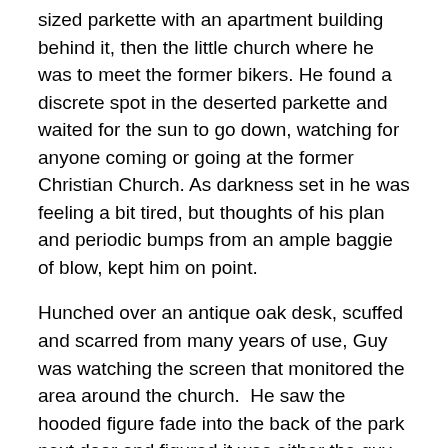sized parkette with an apartment building behind it, then the little church where he was to meet the former bikers. He found a discrete spot in the deserted parkette and waited for the sun to go down, watching for anyone coming or going at the former Christian Church. As darkness set in he was feeling a bit tired, but thoughts of his plan and periodic bumps from an ample baggie of blow, kept him on point.
Hunched over an antique oak desk, scuffed and scarred from many years of use, Guy was watching the screen that monitored the area around the church.  He saw the hooded figure fade into the back of the park next door and figured it was either the guy they were waiting for or his back up. Martan, had just come in the back door from Neutral Lane and hadn't seen or been seen by the person watching the building.  Guy and Martan had done so much